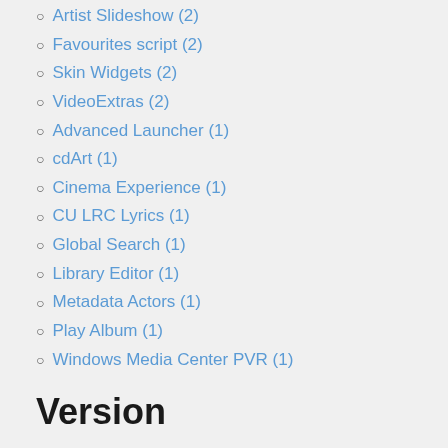Artist Slideshow (2)
Favourites script (2)
Skin Widgets (2)
VideoExtras (2)
Advanced Launcher (1)
cdArt (1)
Cinema Experience (1)
CU LRC Lyrics (1)
Global Search (1)
Library Editor (1)
Metadata Actors (1)
Play Album (1)
Windows Media Center PVR (1)
Version
v12 Frodo
v13 Gotham (3)
v14 Helix (2)
v11 Eden (1)
v15 Isengard (1)
v16 Jarvis (1)